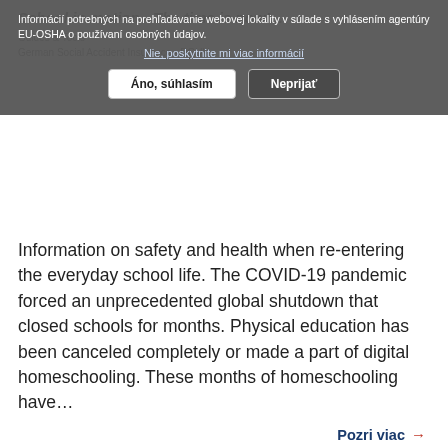[Figure (screenshot): Cookie consent overlay on EU-OSHA website. Text in Slovak: 'Informácií potrebných na prehľadávanie webovej lokality v súlade s vyhlásením agentúry EU-OSHA o používaní osobných údajov.' Link: 'Nie, poskytnite mi viac informácií'. Buttons: 'Áno, súhlasím' and 'Neprijať'. Behind the overlay: greyed-out page content including title 'School in motion - The time is now!', tags 'Guides & Tools', and 'German Social Accident Insurance - DGUV'.]
Information on safety and health when re-entering the everyday school life. The COVID-19 pandemic forced an unprecedented global shutdown that closed schools for months. Physical education has been canceled completely or made a part of digital homeschooling. These months of homeschooling have…
Pozri viac →
Teleworking apprentices: our checklist of good practices
Guides & Tools
Francúzsko
French
ANACT